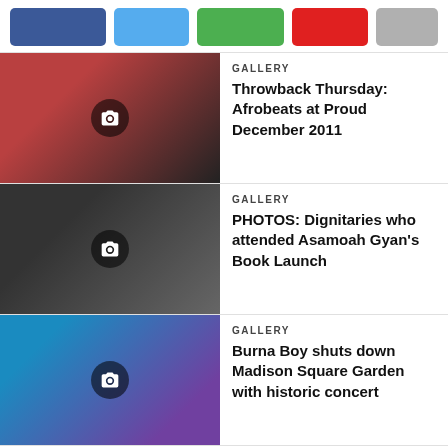[Figure (other): Social media share buttons: Facebook (blue), Twitter (light blue), Google+ (green), Pinterest (red), More (gray)]
[Figure (photo): Thumbnail photo of people at Afrobeats event at Proud December 2011 with camera gallery icon overlay]
GALLERY
Throwback Thursday: Afrobeats at Proud December 2011
[Figure (photo): Thumbnail photo of dignitaries at Asamoah Gyan's Book Launch with camera gallery icon overlay]
GALLERY
PHOTOS: Dignitaries who attended Asamoah Gyan's Book Launch
[Figure (photo): Thumbnail photo of Burna Boy performing at Madison Square Garden with camera gallery icon overlay]
GALLERY
Burna Boy shuts down Madison Square Garden with historic concert
[Figure (other): Advertisement banner for FlocareBeauty with green leaf, brand logo and tagline NOURISHING & REJUVENATING on light blue background]